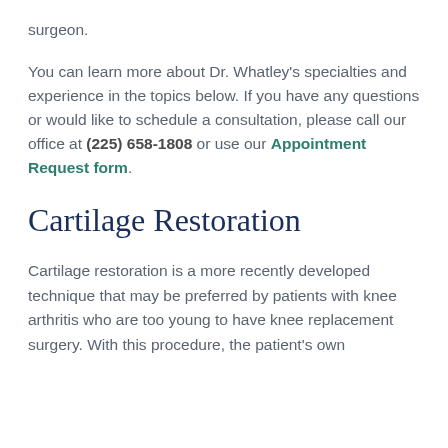surgeon.
You can learn more about Dr. Whatley's specialties and experience in the topics below. If you have any questions or would like to schedule a consultation, please call our office at (225) 658-1808 or use our Appointment Request form.
Cartilage Restoration
Cartilage restoration is a more recently developed technique that may be preferred by patients with knee arthritis who are too young to have knee replacement surgery. With this procedure, the patient's own...